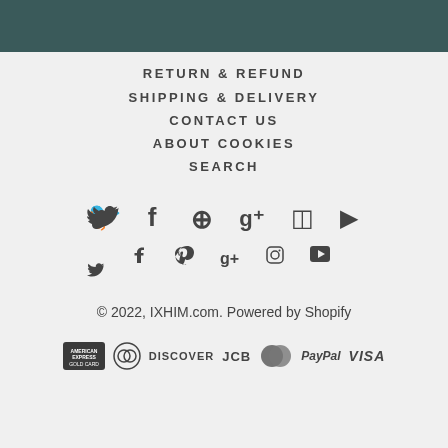RETURN & REFUND
SHIPPING & DELIVERY
CONTACT US
ABOUT COOKIES
SEARCH
[Figure (infographic): Social media icons: Twitter, Facebook, Pinterest, Google+, Instagram, YouTube]
© 2022, IXHIM.com. Powered by Shopify
[Figure (infographic): Payment method icons: American Express, Diners Club, Discover, JCB, Mastercard, PayPal, Visa]